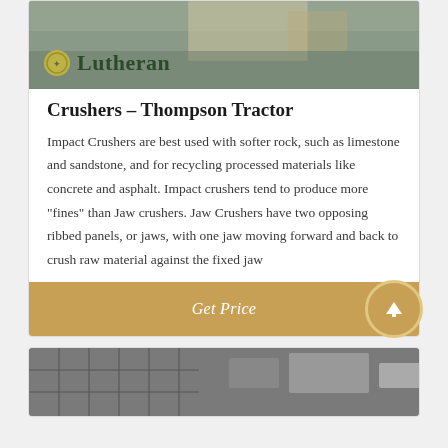[Figure (photo): Top portion of a product card showing a machinery/equipment image with Lutheran logo overlay]
Crushers - Thompson Tractor
Impact Crushers are best used with softer rock, such as limestone and sandstone, and for recycling processed materials like concrete and asphalt. Impact crushers tend to produce more “fines” than Jaw crushers. Jaw Crushers have two opposing ribbed panels, or jaws, with one jaw moving forward and back to crush raw material against the fixed jaw
Get Price
[Figure (photo): Bottom card showing an industrial building or warehouse exterior, partially visible]